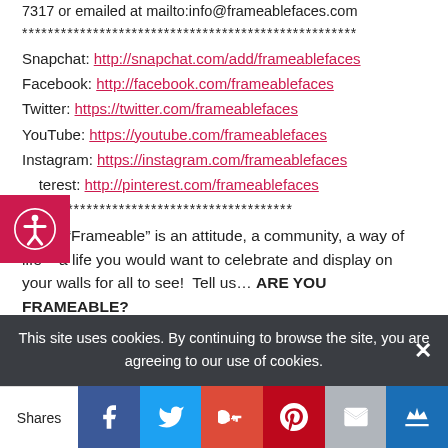7317 or emailed at mailto:info@frameablefaces.com
****************************************************
Snapchat: http://snapchat.com/add/frameablefaces
Facebook: http://facebook.com/frameablefaces
Twitter: https://twitter.com/frameablefaces
YouTube: https://youtube.com/frameablefaces
Instagram: https://instagram.com/frameablefaces
Pinterest: http://pinterest.com/frameablefaces
******************************************
Being “Frameable” is an attitude, a community, a way of life – a life you would want to celebrate and display on your walls for all to see!  Tell us… ARE YOU FRAMEABLE?
****************************************************
Join the Frameable Faces Community – sign up for our
This site uses cookies. By continuing to browse the site, you are agreeing to our use of cookies.
Shares